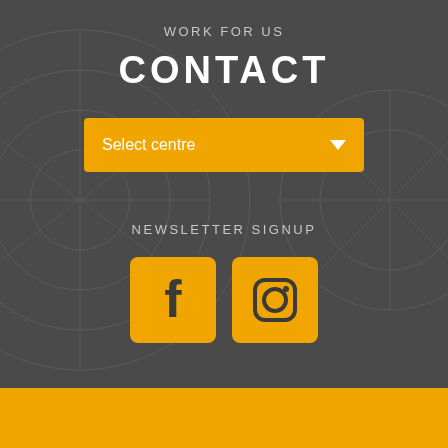WORK FOR US
CONTACT
[Figure (other): Dropdown select box with orange/amber background and white text 'Select centre' with a dropdown arrow]
NEWSLETTER SIGNUP
[Figure (other): Social media icons: Facebook and Instagram, each in a square orange/amber button]